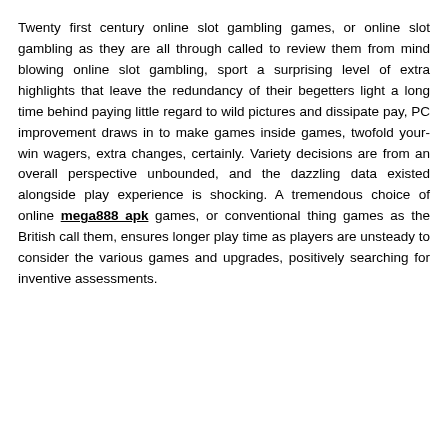Twenty first century online slot gambling games, or online slot gambling as they are all through called to review them from mind blowing online slot gambling, sport a surprising level of extra highlights that leave the redundancy of their begetters light a long time behind paying little regard to wild pictures and dissipate pay, PC improvement draws in to make games inside games, twofold your-win wagers, extra changes, certainly. Variety decisions are from an overall perspective unbounded, and the dazzling data existed alongside play experience is shocking. A tremendous choice of online mega888 apk games, or conventional thing games as the British call them, ensures longer play time as players are unsteady to consider the various games and upgrades, positively searching for inventive assessments.